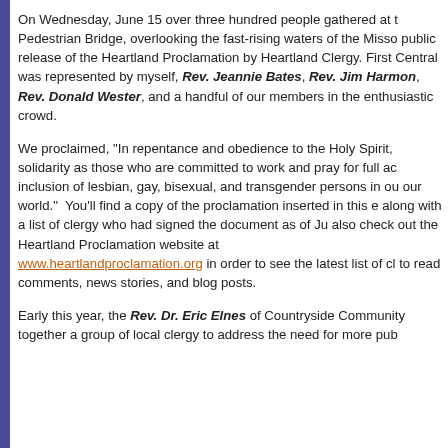On Wednesday, June 15 over three hundred people gathered at the Pedestrian Bridge, overlooking the fast-rising waters of the Missouri, for the public release of the Heartland Proclamation by Heartland Clergy. First Central was represented by myself, Rev. Jeannie Bates, Rev. Jim Harmon, Rev. Donald Wester, and a handful of our members in the enthusiastic crowd.
We proclaimed, "In repentance and obedience to the Holy Spirit, we stand in solidarity as those who are committed to work and pray for full acceptance and inclusion of lesbian, gay, bisexual, and transgender persons in our churches and our world." You'll find a copy of the proclamation inserted in this e-letter, along with a list of clergy who had signed the document as of June 15. You can also check out the Heartland Proclamation website at www.heartlandproclamation.org in order to see the latest list of clergy and to read comments, news stories, and blog posts.
Early this year, the Rev. Dr. Eric Elnes of Countryside Community Church gathered together a group of local clergy to address the need for more public...